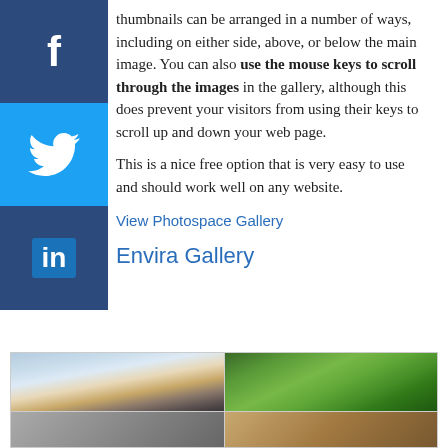[Figure (other): Social media sidebar with Facebook (f), Twitter (bird), and LinkedIn (in) icons on dark blue/blue background]
thumbnails can be arranged in a number of ways, including on either side, above, or below the main image. You can also use the mouse keys to scroll through the images in the gallery, although this does prevent your visitors from using their keys to scroll up and down your web page.
This is a nice free option that is very easy to use and should work well on any website.
View Photospace Gallery
Envira Gallery
[Figure (photo): Gallery preview showing two landscape photos on top row (sky/pier and green hills) and two more on bottom row, arranged in a 2x2 grid with a border]